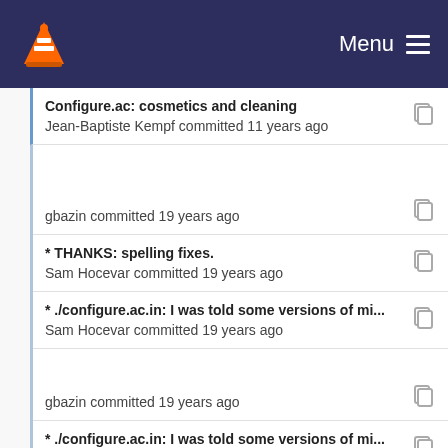Menu
Configure.ac: cosmetics and cleaning
Jean-Baptiste Kempf committed 11 years ago
gbazin committed 19 years ago
* THANKS: spelling fixes.
Sam Hocevar committed 19 years ago
* ./configure.ac.in: I was told some versions of mi...
Sam Hocevar committed 19 years ago
gbazin committed 19 years ago
* ./configure.ac.in: I was told some versions of mi...
Sam Hocevar committed 19 years ago